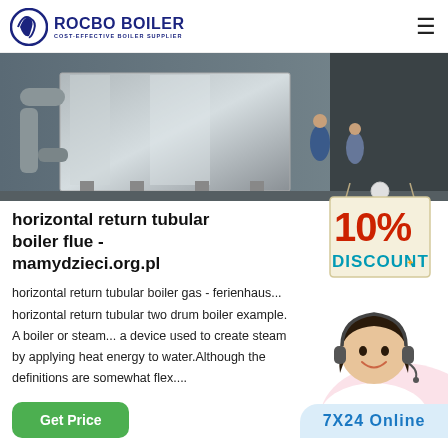ROCBO BOILER — COST-EFFECTIVE BOILER SUPPLIER
[Figure (photo): Industrial boiler unit outdoors with large metal casing, pipes, and workers nearby]
horizontal return tubular boiler flue - mamydzieci.org.pl
[Figure (infographic): 10% DISCOUNT badge with hanging sign design in red and teal]
horizontal return tubular boiler gas - ferienhaus...horizontal return tubular two drum boiler example. A boiler or steam...a device used to create steam by applying heat energy to water.Although the definitions are somewhat flex....
[Figure (photo): Customer service representative woman with headset smiling]
Get Price
7X24 Online